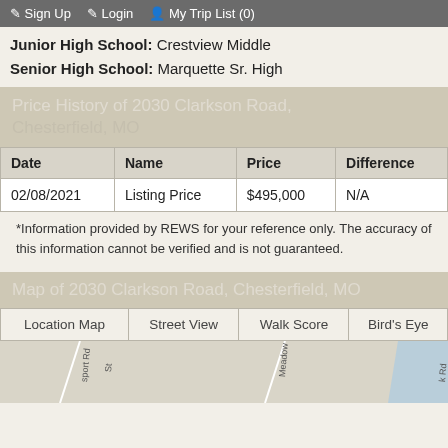Sign Up   Login   My Trip List (0)
Junior High School: Crestview Middle
Senior High School: Marquette Sr. High
Price History of 2030 Clarkson Road, Chesterfield, MO
| Date | Name | Price | Difference |
| --- | --- | --- | --- |
| 02/08/2021 | Listing Price | $495,000 | N/A |
*Information provided by REWS for your reference only. The accuracy of this information cannot be verified and is not guaranteed.
Map of 2030 Clarkson Road, Chesterfield, MO
| Location Map | Street View | Walk Score | Bird's Eye |
| --- | --- | --- | --- |
[Figure (map): Street map showing partial view of area near 2030 Clarkson Road, Chesterfield, MO with road markings and street labels]